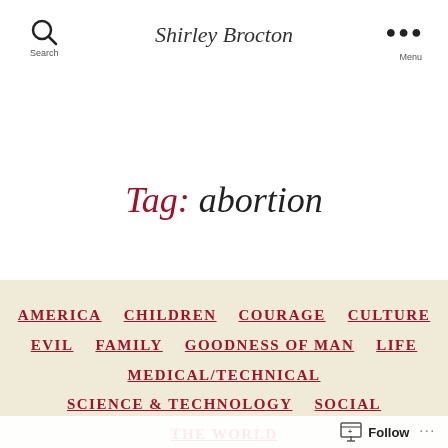Search  Shirley Brocton  Menu
Tag: abortion
AMERICA
CHILDREN
COURAGE
CULTURE
EVIL
FAMILY
GOODNESS OF MAN
LIFE
MEDICAL/TECHNICAL
SCIENCE & TECHNOLOGY
SOCIAL
THE WORLD
Rebecca, Nathaniel and Down's